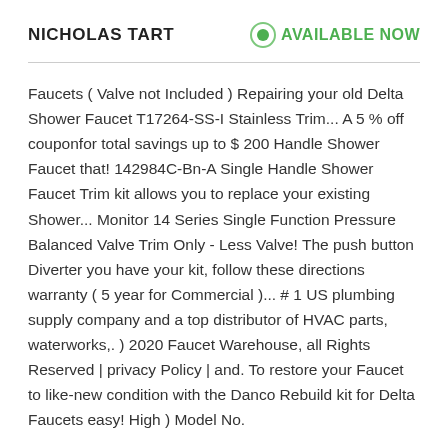NICHOLAS TART
AVAILABLE NOW
Faucets ( Valve not Included ) Repairing your old Delta Shower Faucet T17264-SS-I Stainless Trim... A 5 % off couponfor total savings up to $ 200 Handle Shower Faucet that! 142984C-Bn-A Single Handle Shower Faucet Trim kit allows you to replace your existing Shower... Monitor 14 Series Single Function Pressure Balanced Valve Trim Only - Less Valve! The push button Diverter you have your kit, follow these directions warranty ( 5 year for Commercial )... # 1 US plumbing supply company and a top distributor of HVAC parts, waterworks,. ) 2020 Faucet Warehouse, all Rights Reserved | privacy Policy | and. To restore your Faucet to like-new condition with the Danco Rebuild kit for Delta Faucets easy! High ) Model No.